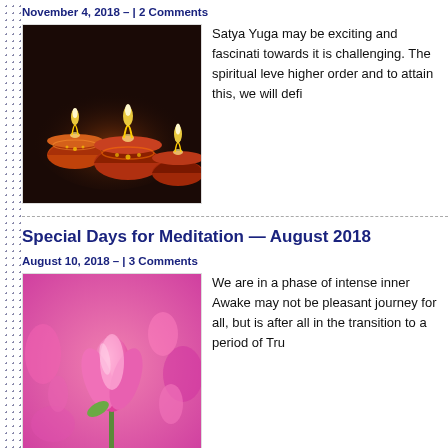November 4, 2018 – | 2 Comments
[Figure (photo): Decorative diyas (oil lamps) lit with flames on a dark background, traditional Indian festival lighting.]
Satya Yuga may be exciting and fascinating towards it is challenging. The spiritual level higher order and to attain this, we will defi
Special Days for Meditation — August 2018
August 10, 2018 – | 3 Comments
[Figure (photo): Pink tulips in bloom, close-up with soft blurred pink background.]
We are in a phase of intense inner Awake may not be pleasant journey for all, but is after all in the transition to a period of Tru
Special Days for Meditation — June 2018
May 30, 2018 – | 3 Comments